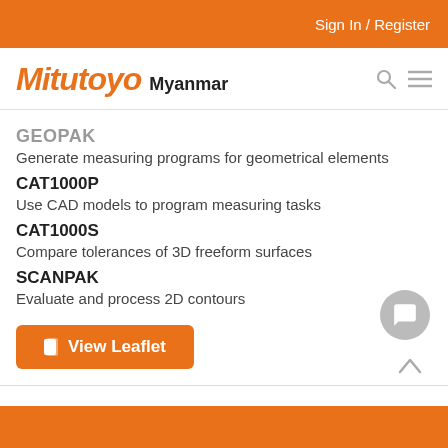Sign In / Register
Mitutoyo Myanmar
GEOPAK
Generate measuring programs for geometrical elements
CAT1000P
Use CAD models to program measuring tasks
CAT1000S
Compare tolerances of 3D freeform surfaces
SCANPAK
Evaluate and process 2D contours
View Leaflet